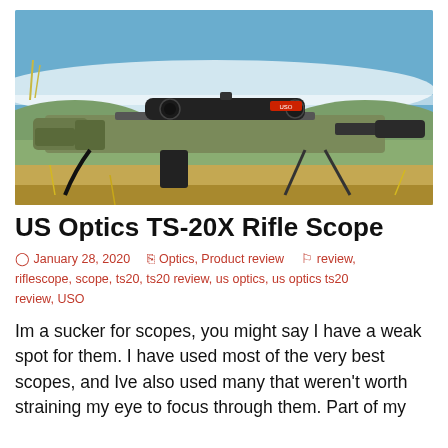[Figure (photo): A rifle with a US Optics TS-20X scope mounted on top, resting on bipod legs outdoors in a field with mountains and blue sky in the background.]
US Optics TS-20X Rifle Scope
January 28, 2020   Optics, Product review   review, riflescope, scope, ts20, ts20 review, us optics, us optics ts20 review, USO
Im a sucker for scopes, you might say I have a weak spot for them. I have used most of the very best scopes, and Ive also used many that weren't worth straining my eye to focus through them. Part of my